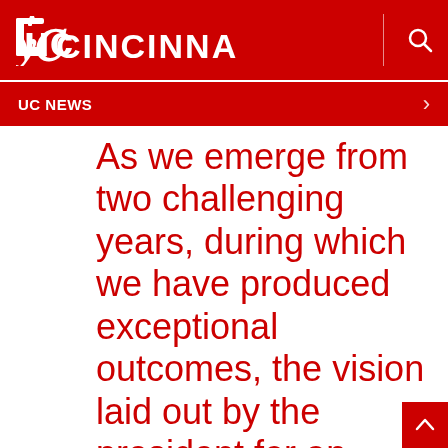University of Cincinnati
UC NEWS
As we emerge from two challenging years, during which we have produced exceptional outcomes, the vision laid out by the president for an